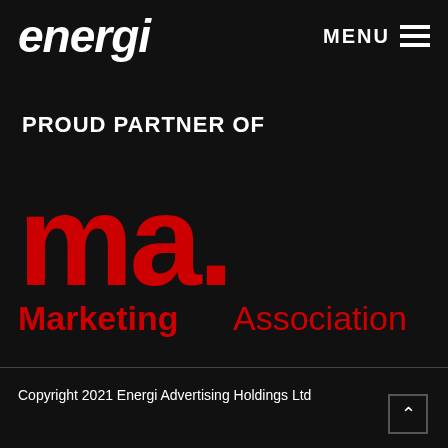energi  MENU
PROUD PARTNER OF
[Figure (logo): Marketing Association (ma.) logo in red on black background, with large 'ma.' lettering and 'Marketing Association' wordmark below]
Copyright 2021 Energi Advertising Holdings Ltd